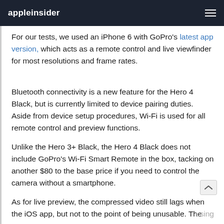appleinsider
For our tests, we used an iPhone 6 with GoPro's latest app version, which acts as a remote control and live viewfinder for most resolutions and frame rates.
Bluetooth connectivity is a new feature for the Hero 4 Black, but is currently limited to device pairing duties. Aside from device setup procedures, Wi-Fi is used for all remote control and preview functions.
Unlike the Hero 3+ Black, the Hero 4 Black does not include GoPro's Wi-Fi Smart Remote in the box, tacking on another $80 to the base price if you need to control the camera without a smartphone.
As for live preview, the compressed video still lags when using the iOS app, but not to the point of being unusable. The